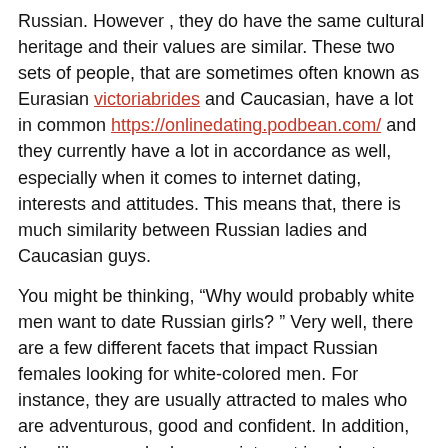Russian. However , they do have the same cultural heritage and their values are similar. These two sets of people, that are sometimes often known as Eurasian victoriabrides and Caucasian, have a lot in common https://onlinedating.podbean.com/ and they currently have a lot in accordance as well, especially when it comes to internet dating, interests and attitudes. This means that, there is much similarity between Russian ladies and Caucasian guys.
You might be thinking, “Why would probably white men want to date Russian girls? ” Very well, there are a few different facets that impact Russian females looking for white-colored men. For instance, they are usually attracted to males who are adventurous, good and confident. In addition, they like guys who have an interest in adventure, that have a very solid sense of name and just who are assured about themselves. They are traits that many Caucasian guys share, also.